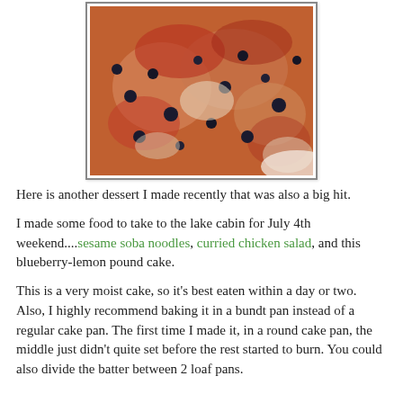[Figure (photo): Close-up photo of a blueberry-lemon pound cake slice showing berries and golden-brown texture, in a bordered frame.]
Here is another dessert I made recently that was also a big hit.
I made some food to take to the lake cabin for July 4th weekend....sesame soba noodles, curried chicken salad, and this blueberry-lemon pound cake.
This is a very moist cake, so it's best eaten within a day or two. Also, I highly recommend baking it in a bundt pan instead of a regular cake pan. The first time I made it, in a round cake pan, the middle just didn't quite set before the rest started to burn. You could also divide the batter between 2 loaf pans.